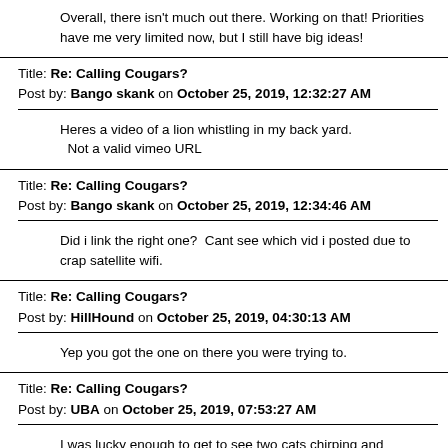Overall, there isn't much out there. Working on that! Priorities have me very limited now, but I still have big ideas!
Title: Re: Calling Cougars?
Post by: Bango skank on October 25, 2019, 12:32:27 AM
Heres a video of a lion whistling in my back yard.
  Not a valid vimeo URL
Title: Re: Calling Cougars?
Post by: Bango skank on October 25, 2019, 12:34:46 AM
Did i link the right one?  Cant see which vid i posted due to crap satellite wifi.
Title: Re: Calling Cougars?
Post by: HillHound on October 25, 2019, 04:30:13 AM
Yep you got the one on there you were trying to.
Title: Re: Calling Cougars?
Post by: UBA on October 25, 2019, 07:53:27 AM
I was lucky enough to get to see two cats chirping and whistling back and forth for about a half hour. I'm guessing it